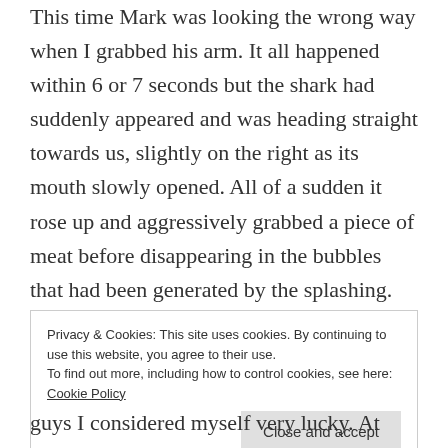This time Mark was looking the wrong way when I grabbed his arm. It all happened within 6 or 7 seconds but the shark had suddenly appeared and was heading straight towards us, slightly on the right as its mouth slowly opened. All of a sudden it rose up and aggressively grabbed a piece of meat before disappearing in the bubbles that had been generated by the splashing. The top of the cage was clunked two times, now it was time to get out and for another group to take over. There were at that point 4 or 5 of us in the cage and I'd tried to alert those on the left side and assumed we had all witnessed what had happened.
Privacy & Cookies: This site uses cookies. By continuing to use this website, you agree to their use.
To find out more, including how to control cookies, see here: Cookie Policy
guys I considered myself very lucky. At that stage of the